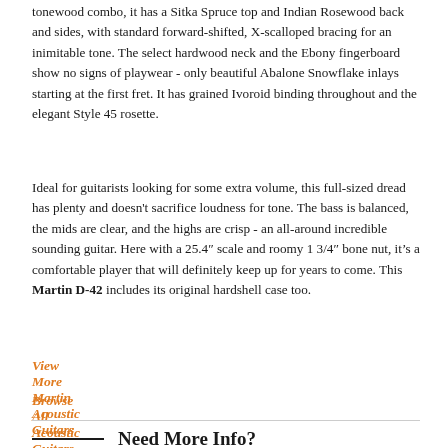tonewood combo, it has a Sitka Spruce top and Indian Rosewood back and sides, with standard forward-shifted, X-scalloped bracing for an inimitable tone. The select hardwood neck and the Ebony fingerboard show no signs of playwear - only beautiful Abalone Snowflake inlays starting at the first fret. It has grained Ivoroid binding throughout and the elegant Style 45 rosette.
Ideal for guitarists looking for some extra volume, this full-sized dread has plenty and doesn't sacrifice loudness for tone. The bass is balanced, the mids are clear, and the highs are crisp - an all-around incredible sounding guitar. Here with a 25.4" scale and roomy 1 3/4" bone nut, it's a comfortable player that will definitely keep up for years to come. This Martin D-42 includes its original hardshell case too.
View More Martin Acoustic Guitars
Browse All Acoustic Guitars
Need More Info?